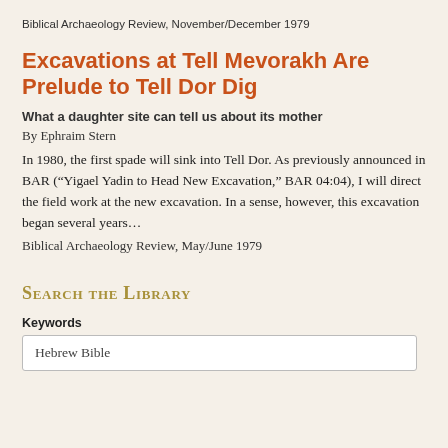Biblical Archaeology Review, November/December 1979
Excavations at Tell Mevorakh Are Prelude to Tell Dor Dig
What a daughter site can tell us about its mother
By Ephraim Stern
In 1980, the first spade will sink into Tell Dor. As previously announced in BAR (“Yigael Yadin to Head New Excavation,” BAR 04:04), I will direct the field work at the new excavation. In a sense, however, this excavation began several years…
Biblical Archaeology Review, May/June 1979
Search the Library
Keywords
Hebrew Bible